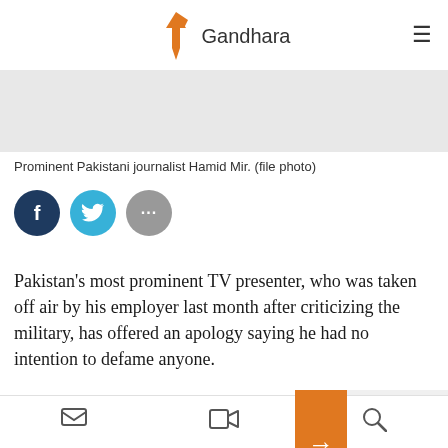Gandhara
[Figure (photo): Gray placeholder image area for photo of Hamid Mir]
Prominent Pakistani journalist Hamid Mir. (file photo)
[Figure (infographic): Social sharing buttons: Facebook (dark blue), Twitter (light blue), More (gray)]
Pakistan's most prominent TV presenter, who was taken off air by his employer last month after criticizing the military, has offered an apology saying he had no intention to defame anyone.
Hamid Mir tweeted on Ju[ne]... over his remarks to a co[mmission]...
[Figure (screenshot): Orange arrow navigation overlay and related article card with image and partial text: 'We Don't Kno[w Where] To Go': Afgha[ns] Forcibly Depo[rted]]
Email | Video | Search icons